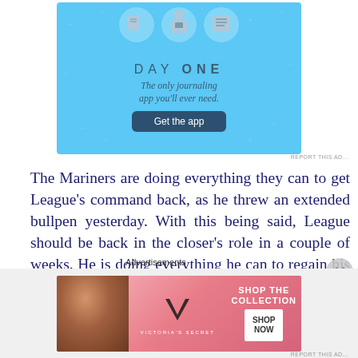[Figure (screenshot): Day One journaling app advertisement with blue background, icons, title 'DAY ONE', tagline 'The only journaling app you'll ever need.' and a 'Get the app' button]
REPORT THIS AD...
The Mariners are doing everything they can to get League's command back, as he threw an extended bullpen yesterday. With this being said, League should be back in the closer's role in a couple of weeks. He is doing everything he can to regain his command and that is all
Advertisements
[Figure (screenshot): Victoria's Secret advertisement with pink background, model photo, Victoria's Secret logo, text 'SHOP THE COLLECTION' and 'SHOP NOW' button]
REPORT THIS AD...